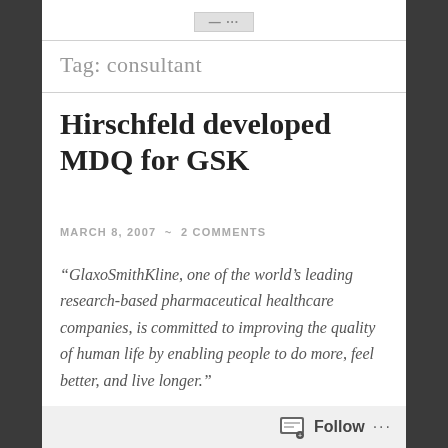— ···
Tag: consultant
Hirschfeld developed MDQ for GSK
MARCH 8, 2007  ~  2 COMMENTS
“GlaxoSmithKline, one of the world’s leading research-based pharmaceutical healthcare companies, is committed to improving the quality of human life by enabling people to do more, feel better, and live longer.”
OK, I’ll be honest, I can’t keep
Follow  ···